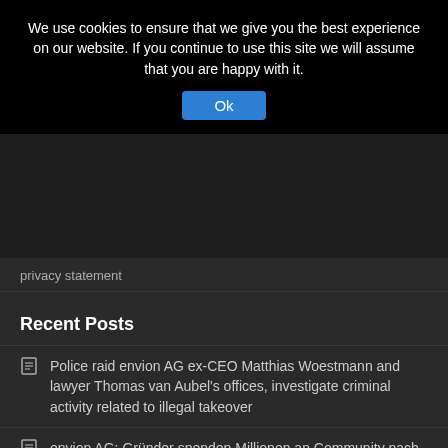We use cookies to ensure that we give you the best experience on our website. If you continue to use this site we will assume that you are happy with it.
Ok
privacy statement
Recent Posts
Police raid envion AG ex-CEO Matthias Woestmann and lawyer Thomas van Aubel's offices, investigate criminal activity related to illegal takeover
envion AG: Gründer spenden Millionen an Community nach Urteil gegen Ex-CEO Woestmann und andere / Liquidation Upgrade Program zahlt Erlöse aus Liquidation und Schadensersatz an EVN-Inhaber
Envion AG founders to donate millions to community after...